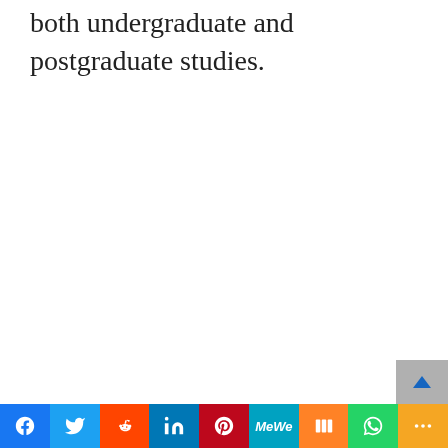both undergraduate and postgraduate studies.
[Figure (other): Social sharing bar with buttons: Facebook, Twitter, Reddit, LinkedIn, Pinterest, MeWe, Mix, WhatsApp, More. A scroll-to-top arrow button appears above the bar on the right side.]